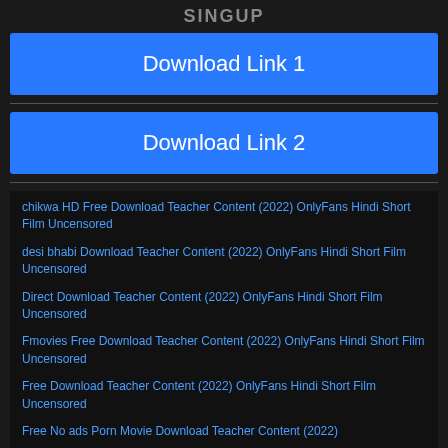SINGUP
Download Link 1
Download Link 2
chikwa HD Free Download Teacher Content (2022) OnlyFans Hindi Short Film Uncensored
desi bhabi Download Teacher Content (2022) OnlyFans Hindi Short Film Uncensored
Direct Download Teacher Content (2022) OnlyFans Hindi Short Film Uncensored
Fmovies Free Download Teacher Content (2022) OnlyFans Hindi Short Film Uncensored
Free Download Teacher Content (2022) OnlyFans Hindi Short Film Uncensored
Free No ads Porn Movie Download Teacher Content (2022)